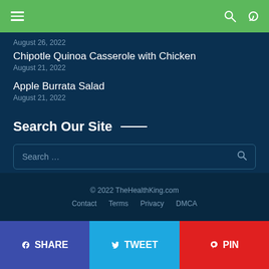Navigation bar with hamburger menu, search icon, and theme toggle
August 26, 2022
Chipotle Quinoa Casserole with Chicken
August 21, 2022
Apple Burrata Salad
August 21, 2022
Search Our Site
Search …
© 2022 TheHealthKing.com
Contact   Terms   Privacy   DMCA
SHARE   TWEET   PIN